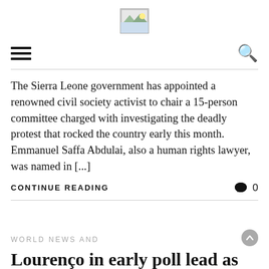[Figure (logo): Website logo image placeholder]
The Sierra Leone government has appointed a renowned civil society activist to chair a 15-person committee charged with investigating the deadly protest that rocked the country early this month. Emmanuel Saffa Abdulai, also a human rights lawyer, was named in [...]
CONTINUE READING   0
WORLD NEWS AND
Lourenço in early poll lead as Angola opposition disputes results